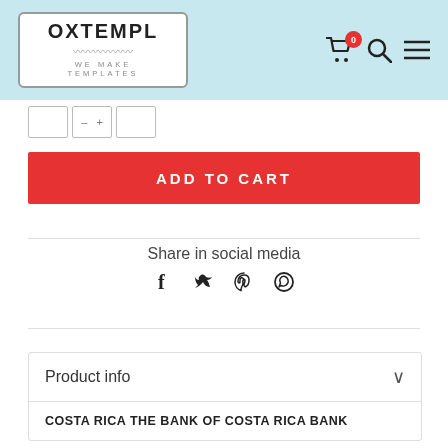[Figure (screenshot): E-commerce website header with OXTEMPL logo (WE MAKE TEMPLATES), cart icon with badge showing 0, search icon, and menu icon on light blue background]
[Figure (other): Quantity selector row with three bordered boxes showing partial text labels]
ADD TO CART
Share in social media
[Figure (other): Social media share icons: Facebook, Twitter, Pinterest, WhatsApp]
Product info
COSTA RICA THE BANK OF COSTA RICA BANK